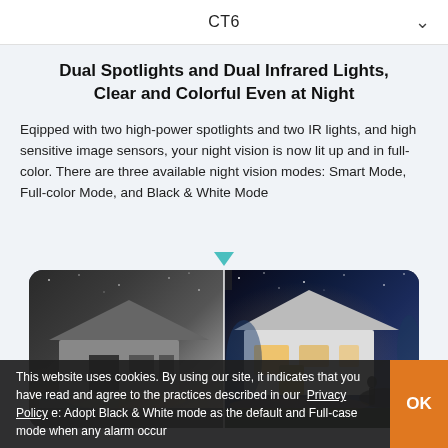CT6
Dual Spotlights and Dual Infrared Lights, Clear and Colorful Even at Night
Eqipped with two high-power spotlights and two IR lights, and high sensitive image sensors, your night vision is now lit up and in full-color. There are three available night vision modes: Smart Mode, Full-color Mode, and Black & White Mode
[Figure (photo): Split comparison image of a house at night: left half shows black and white night vision view, right half shows full-color night vision view of the same house with blue sky and warm lighting. A teal downward triangle indicator sits above the dividing line.]
This website uses cookies. By using our site, it indicates that you have read and agree to the practices described in our  Privacy Policy.  e: Adopt Black & White mode as the default and Full-case mode when any alarm occur